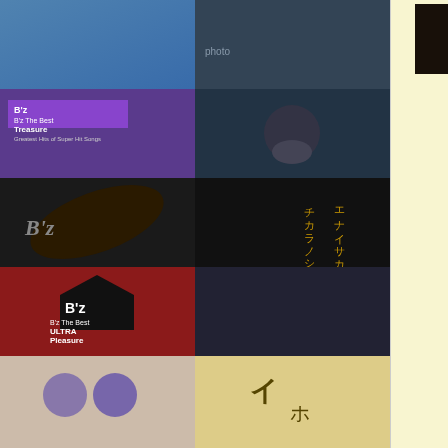[Figure (photo): Left column with a grid of B'z album cover images including B'z The Best Treasure, B'z guitar album, B'z The Best ULTRA Pleasure, and other album artwork]
[Figure (photo): Concert photo in middle infobox column showing musician performing]
ローリー寺西
Nationality:
[Figure (other): Japanese flag circle (red circle on white)]
(Saxophone)
2010: with Tak Matsumoto: JAZZY BULLETS (Saxophone), A girl from China (Saxophone) with Koshi Inaba: Little Boy (Alto Sax)
2016: with Tak Matsumoto: Rock The Rock (Saxophone), Dream Drive (Saxophone)